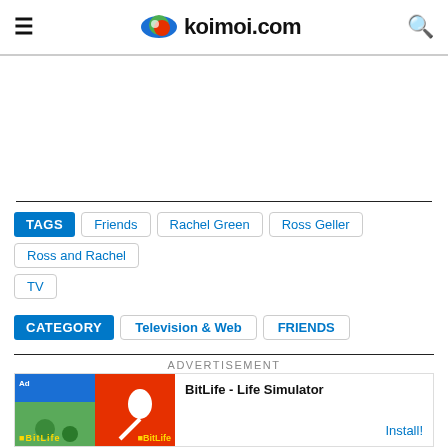koimoi.com
[Figure (logo): koimoi.com logo with colorful eye icon]
TAGS: Friends, Rachel Green, Ross Geller, Ross and Rachel, TV
CATEGORY: Television & Web, FRIENDS
ADVERTISEMENT
[Figure (other): BitLife - Life Simulator advertisement banner with Install button]